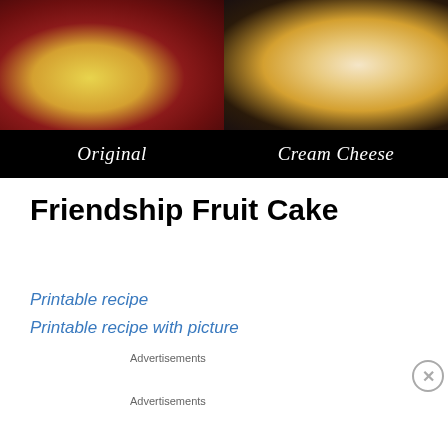[Figure (photo): Two slices of fruit cake side by side on black background. Left labeled 'Original', right labeled 'Cream Cheese'.]
Friendship Fruit Cake
Printable recipe
Printable recipe with picture
Advertisements
[Figure (logo): Jetpack advertisement banner, green background with Jetpack logo and lightning bolt icon]
Advertisements
[Figure (photo): Macy's advertisement: KISS BORING LIPS GOODBYE, woman with red lips, SHOP NOW button]